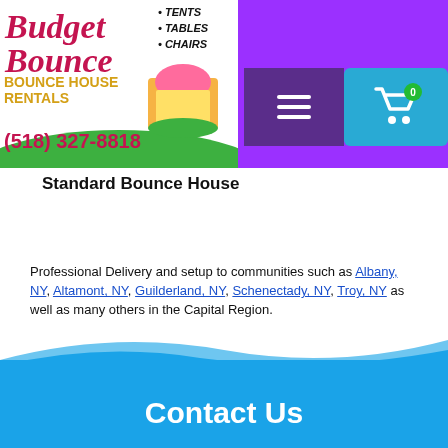[Figure (logo): Budget Bounce bounce house rentals logo with phone number (518) 327-8818, tents, tables, chairs listing, and colorful bounce house image]
Standard Bounce House
Professional Delivery and setup to communities such as Albany, NY, Altamont, NY, Guilderland, NY, Schenectady, NY, Troy, NY as well as many others in the Capital Region.
Contact Us